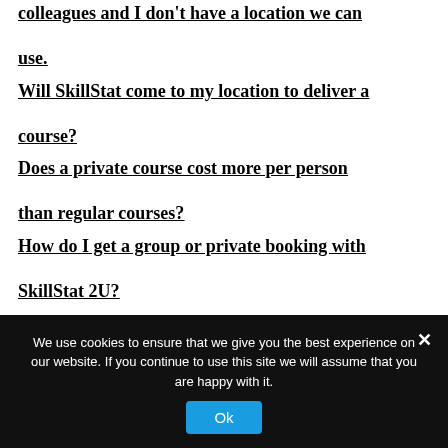colleagues and I don't have a location we can use.
Will SkillStat come to my location to deliver a course?
Does a private course cost more per person than regular courses?
How do I get a group or private booking with SkillStat 2U?
We use cookies to ensure that we give you the best experience on our website. If you continue to use this site we will assume that you are happy with it.